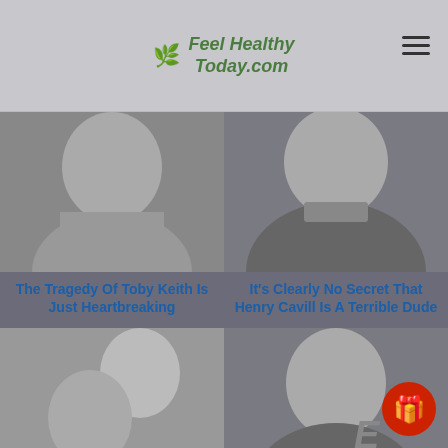Feel Healthy Today.com
[Figure (photo): Close-up photo of Toby Keith's face with beard]
The Tragedy Of Toby Keith Is Just Heartbreaking
[Figure (photo): Close-up photo of Henry Cavill's face with mustache]
It's Clearly No Secret That Henry Cavill Is A Terrible Dude
[Figure (photo): Photo of Memphis and Hamza from 90 Day Fiancé together]
90 Day Fiancé's Memphis And Hamza Reportedly Fired By TLC
[Figure (photo): Close-up photo of Luke Perry's face]
Luke Perry's True Cause Of Death Is Clearly No Secret Anymore
[Figure (photo): Photo of a blonde woman, partially visible]
[Figure (photo): Photo of another person, partially visible]